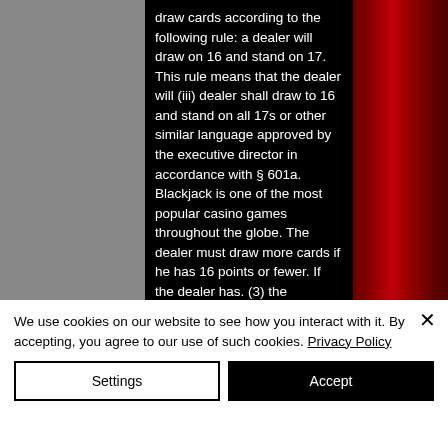draw cards according to the following rule: a dealer will draw on 16 and stand on 17. This rule means that the dealer will (iii) dealer shall draw to 16 and stand on all 17s or other similar language approved by the executive director in accordance with § 601a. Blackjack is one of the most popular casino games throughout the globe. The dealer must draw more cards if he has 16 points or fewer. If the dealer has. (3) the following inscriptions: (i) blackjack pays 3 to 2. (ii) insurance pays 2 to 1. (iii) dealer shall draw to 16 and stand on all. However, it is bound by rules when drawing new cards. The
We use cookies on our website to see how you interact with it. By accepting, you agree to our use of such cookies. Privacy Policy